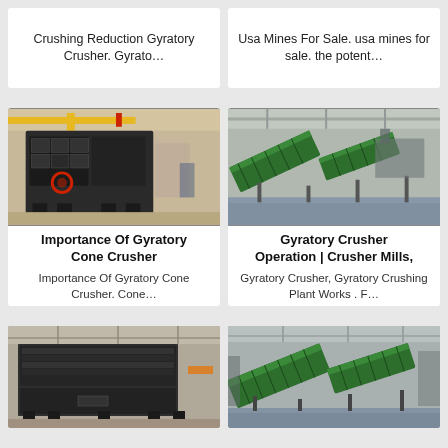Crushing Reduction Gyratory Crusher. Gyrato…
Usa Mines For Sale. usa mines for sale. the potent…
[Figure (photo): Industrial impact crusher machine in a factory warehouse]
[Figure (photo): Green conveyor/screening plant equipment in a factory]
Importance Of Gyratory Cone Crusher
Gyratory Crusher Operation | Crusher Mills,
Importance Of Gyratory Cone Crusher. Cone…
Gyratory Crusher, Gyratory Crushing Plant Works . F…
[Figure (photo): Large industrial crusher machine in warehouse]
[Figure (photo): Green conveyor/screening plant equipment in factory hall]